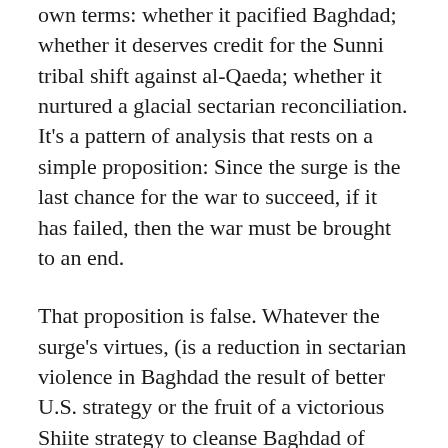own terms: whether it pacified Baghdad; whether it deserves credit for the Sunni tribal shift against al-Qaeda; whether it nurtured a glacial sectarian reconciliation. It's a pattern of analysis that rests on a simple proposition: Since the surge is the last chance for the war to succeed, if it has failed, then the war must be brought to an end.
That proposition is false. Whatever the surge's virtues, (is a reduction in sectarian violence in Baghdad the result of better U.S. strategy or the fruit of a victorious Shiite strategy to cleanse Baghdad of Sunnis?) it has had a clear political benefit for the president, turning criticism of the war into criticism of a slice of the war. General Petraeus made it clear last week that the infusion of troops into Baghdad was what allowed him to emphasize a strategy of population protection that